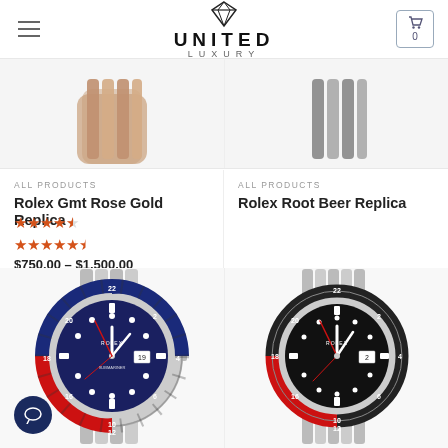UNITED LUXURY
[Figure (photo): Partial top view of Rolex GMT Rose Gold Replica watch bracelet]
[Figure (photo): Partial top view of Rolex Root Beer Replica watch bracelet]
ALL PRODUCTS
Rolex Gmt Rose Gold Replica
★★★★☆
$750.00 – $1,500.00
ALL PRODUCTS
Rolex Root Beer Replica
[Figure (photo): Rolex GMT Master II Pepsi (blue/red bezel) replica watch, steel bracelet, blue dial]
[Figure (photo): Rolex GMT Master II Root Beer (black/red bezel) replica watch, steel bracelet, black dial]